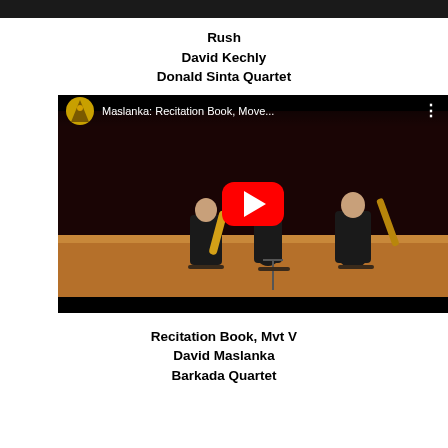Rush
David Kechly
Donald Sinta Quartet
[Figure (screenshot): YouTube video thumbnail showing four saxophone players performing on a concert stage. The video title reads 'Maslanka: Recitation Book, Move...' with a YouTube play button in the center. The musicians are seated with saxophones in a concert hall setting.]
Recitation Book, Mvt V
David Maslanka
Barkada Quartet